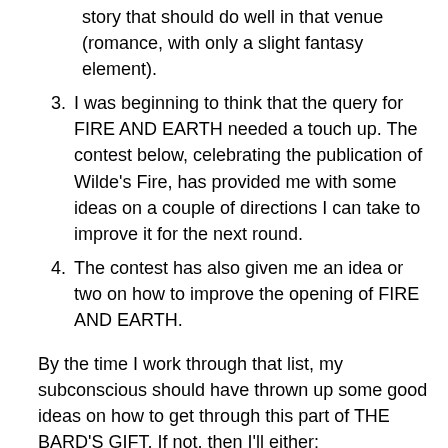story that should do well in that venue (romance, with only a slight fantasy element).
I was beginning to think that the query for FIRE AND EARTH needed a touch up. The contest below, celebrating the publication of Wilde’s Fire, has provided me with some ideas on a couple of directions I can take to improve it for the next round.
The contest has also given me an idea or two on how to improve the opening of FIRE AND EARTH.
By the time I work through that list, my subconscious should have thrown up some good ideas on how to get through this part of THE BARD’S GIFT. If not, then I’ll either:
Skip ahead and write around it, for now. Not my preferred course, but it can be done.